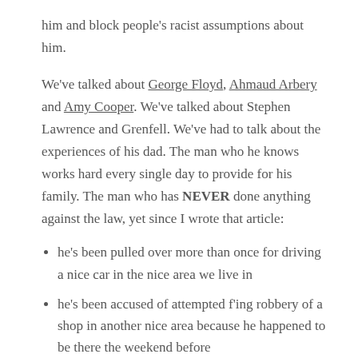him and block people's racist assumptions about him.
We've talked about George Floyd, Ahmaud Arbery and Amy Cooper. We've talked about Stephen Lawrence and Grenfell. We've had to talk about the experiences of his dad. The man who he knows works hard every single day to provide for his family. The man who has NEVER done anything against the law, yet since I wrote that article:
he's been pulled over more than once for driving a nice car in the nice area we live in
he's been accused of attempted f'ing robbery of a shop in another nice area because he happened to be there the weekend before
he's been turned away from a nightclub with his equally hardworking, honest friends for being